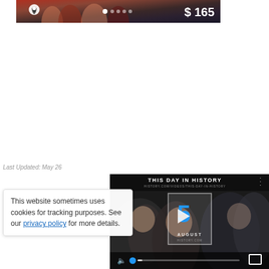[Figure (screenshot): Top portion of a photo showing people at an event with a location pin icon, dot indicators, and $165 price overlay]
Last Updated: May 26
This website sometimes uses cookies for tracking purposes. See our privacy policy for more details.
[Figure (screenshot): Video player showing 'This Day in History' with number 5, August label, play button, mute icon, progress bar and fullscreen icon]